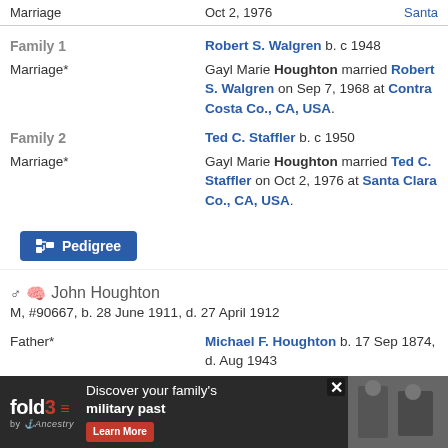| Event | Date | Location |
| --- | --- | --- |
| Marriage | Oct 2, 1976 | Santa |
Family 1
Robert S. Walgren b. c 1948
Marriage* — Gayl Marie Houghton married Robert S. Walgren on Sep 7, 1968 at Contra Costa Co., CA, USA.
Family 2
Ted C. Staffler b. c 1950
Marriage* — Gayl Marie Houghton married Ted C. Staffler on Oct 2, 1976 at Santa Clara Co., CA, USA.
Pedigree
John Houghton
M, #90667, b. 28 June 1911, d. 27 April 1912
Father* — Michael F. Houghton b. 17 Sep 1874, d. Aug 1943
Mother* — Josephine Maroney b. 10 Apr 1882, d. 7 Dec 1949
[Figure (infographic): Fold3 by Ancestry advertisement banner: Discover your family's military past. Learn More button. Black and white photo of soldiers on right.]